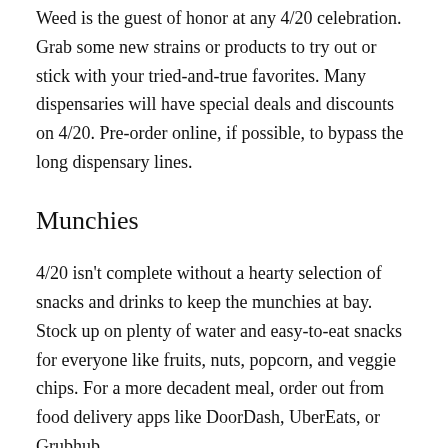Weed is the guest of honor at any 4/20 celebration. Grab some new strains or products to try out or stick with your tried-and-true favorites. Many dispensaries will have special deals and discounts on 4/20. Pre-order online, if possible, to bypass the long dispensary lines.
Munchies
4/20 isn't complete without a hearty selection of snacks and drinks to keep the munchies at bay. Stock up on plenty of water and easy-to-eat snacks for everyone like fruits, nuts, popcorn, and veggie chips. For a more decadent meal, order out from food delivery apps like DoorDash, UberEats, or Grubhub.
Smoking Essentials
The key to having the best 4/20 at home is having all the smoking essential at your disposal. Forgetting to buy a lighter or